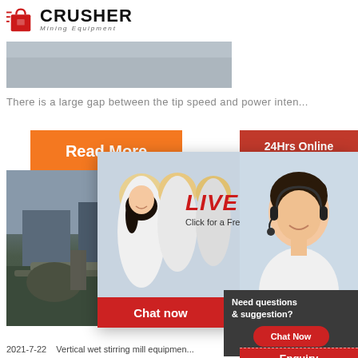CRUSHER Mining Equipment
[Figure (photo): Gray banner image, partial machinery photo at top]
There is a large gap between the tip speed and power inten...
[Figure (screenshot): Website screenshot showing Read More orange button, 24Hrs Online badge, mining site photo, Live Chat popup with workers, Chat now and Chat later buttons, agent with headset, Need questions panel, Enquiry link, limingjlmofen@sina.com email, and partial mill text]
2021-7-22   Vertical wet stirring mill equipmen...